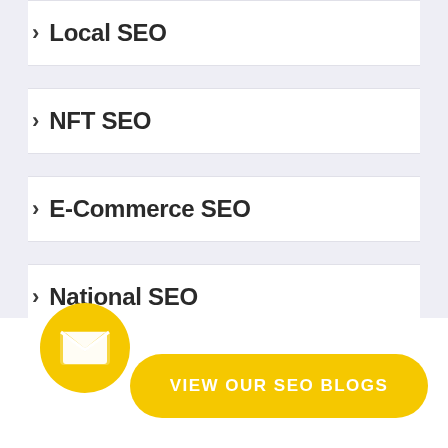Local SEO
NFT SEO
E-Commerce SEO
National SEO
International SEO
[Figure (illustration): Yellow circle with envelope/email icon and a yellow rounded button labeled VIEW OUR SEO BLOGS]